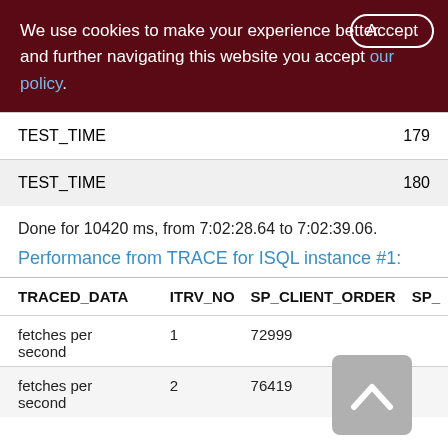We use cookies to make your experience better. By accepting and further navigating this website you accept our policy.
|  |  |
| --- | --- |
| TEST_TIME | 179 |
| TEST_TIME | 180 |
Done for 10420 ms, from 7:02:28.64 to 7:02:39.06.
Performance from TRACE for ISQL instance #1:
| TRACED_DATA | ITRV_NO | SP_CLIENT_ORDER | SP_ |
| --- | --- | --- | --- |
| fetches per second | 1 | 72999 |  |
| fetches per second | 2 | 76419 |  |